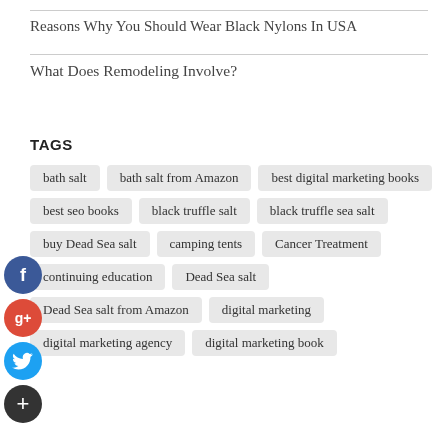Reasons Why You Should Wear Black Nylons In USA
What Does Remodeling Involve?
TAGS
bath salt
bath salt from Amazon
best digital marketing books
best seo books
black truffle salt
black truffle sea salt
buy Dead Sea salt
camping tents
Cancer Treatment
continuing education
Dead Sea salt
Dead Sea salt from Amazon
digital marketing
digital marketing agency
digital marketing book